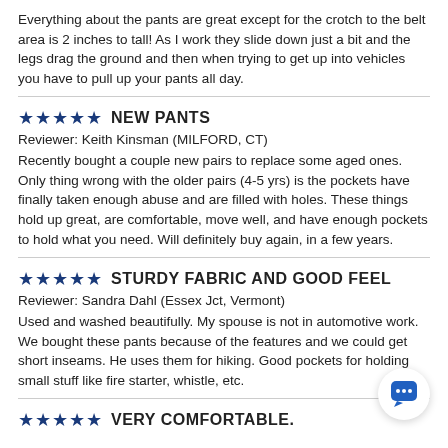Everything about the pants are great except for the crotch to the belt area is 2 inches to tall! As I work they slide down just a bit and the legs drag the ground and then when trying to get up into vehicles you have to pull up your pants all day.
★★★★★ NEW PANTS
Reviewer: Keith Kinsman (MILFORD, CT)
Recently bought a couple new pairs to replace some aged ones. Only thing wrong with the older pairs (4-5 yrs) is the pockets have finally taken enough abuse and are filled with holes. These things hold up great, are comfortable, move well, and have enough pockets to hold what you need. Will definitely buy again, in a few years.
★★★★★ STURDY FABRIC AND GOOD FEEL
Reviewer: Sandra Dahl (Essex Jct, Vermont)
Used and washed beautifully. My spouse is not in automotive work. We bought these pants because of the features and we could get short inseams. He uses them for hiking. Good pockets for holding small stuff like fire starter, whistle, etc.
★★★★★ VERY COMFORTABLE.